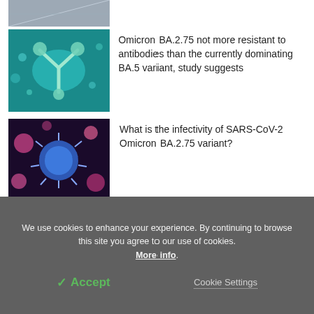[Figure (photo): Partial top image of lab equipment or microscopy, cropped at top of page]
[Figure (photo): 3D illustration of a Y-shaped antibody molecule on teal background]
Omicron BA.2.75 not more resistant to antibodies than the currently dominating BA.5 variant, study suggests
[Figure (photo): Microscopy image of SARS-CoV-2 virus particles in blue and pink on dark background]
What is the infectivity of SARS-CoV-2 Omicron BA.2.75 variant?
We use cookies to enhance your experience. By continuing to browse this site you agree to our use of cookies. More info.
✓ Accept
Cookie Settings